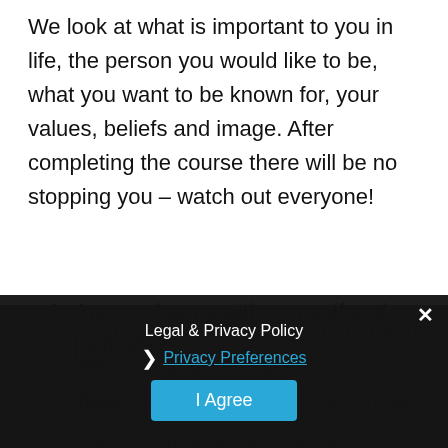We look at what is important to you in life, the person you would like to be, what you want to be known for, your values, beliefs and image. After completing the course there will be no stopping you – watch out everyone!
1. Are you happy with yourself and your lot in life?
2. What and who do you want to be in life
3. Your image and what it says about you!
4. Taking control – remove the clutter!
5. Being confident with the new you...
Legal & Privacy Policy
Privacy Preferences
I Agree